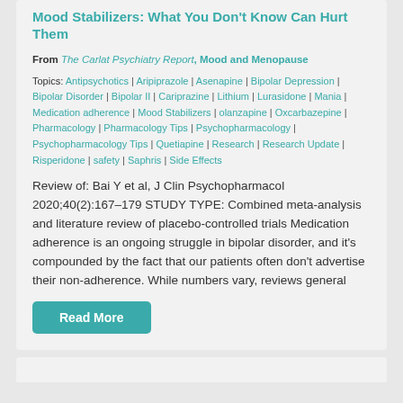Mood Stabilizers: What You Don't Know Can Hurt Them
From The Carlat Psychiatry Report, Mood and Menopause
Topics: Antipsychotics | Aripiprazole | Asenapine | Bipolar Depression | Bipolar Disorder | Bipolar II | Cariprazine | Lithium | Lurasidone | Mania | Medication adherence | Mood Stabilizers | olanzapine | Oxcarbazepine | Pharmacology | Pharmacology Tips | Psychopharmacology | Psychopharmacology Tips | Quetiapine | Research | Research Update | Risperidone | safety | Saphris | Side Effects
Review of: Bai Y et al, J Clin Psychopharmacol 2020;40(2):167–179 STUDY TYPE: Combined meta-analysis and literature review of placebo-controlled trials Medication adherence is an ongoing struggle in bipolar disorder, and it's compounded by the fact that our patients often don't advertise their non-adherence. While numbers vary, reviews general